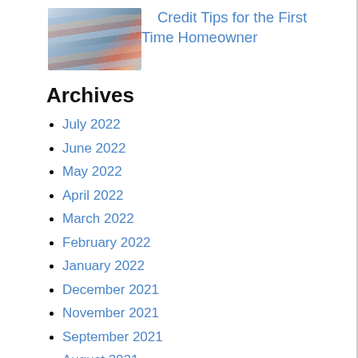[Figure (photo): Stack of credit cards fanned out]
Credit Tips for the First Time Homeowner
Archives
July 2022
June 2022
May 2022
April 2022
March 2022
February 2022
January 2022
December 2021
November 2021
September 2021
August 2021
July 2021
June 2021
February 2021